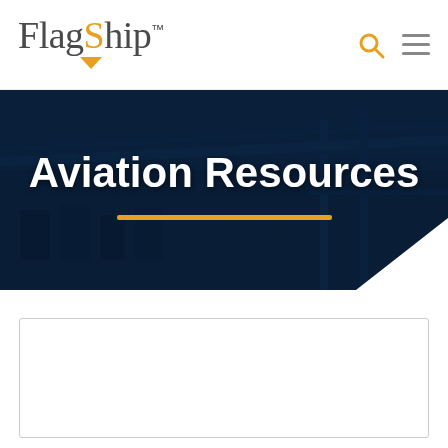[Figure (logo): FlagShip logo with orange G letter accent and downward arrow, with trademark symbol]
[Figure (screenshot): Navigation bar with search icon (orange magnifying glass) and hamburger menu icon]
Aviation Resources
[Figure (photo): Dark blue tinted hero banner image showing an airport terminal or control room interior with chairs, overlaid with the Aviation Resources title and an orange horizontal underline bar. White triangle decoration in bottom-right corner.]
[Figure (other): White content area below hero with a rectangular card outline visible at bottom]